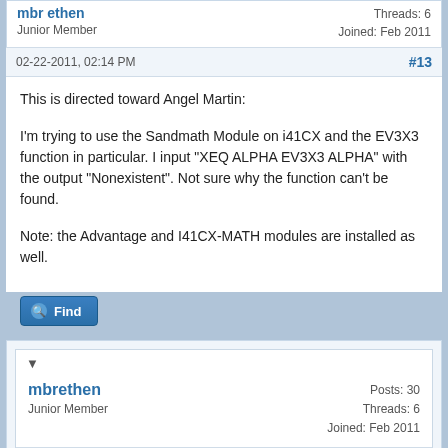Junior Member
Threads: 6
Joined: Feb 2011
02-22-2011, 02:14 PM
#13
This is directed toward Angel Martin:
I'm trying to use the Sandmath Module on i41CX and the EV3X3 function in particular. I input "XEQ ALPHA EV3X3 ALPHA" with the output "Nonexistent". Not sure why the function can't be found.
Note: the Advantage and I41CX-MATH modules are installed as well.
Find
mbrethen
Junior Member
Posts: 30
Threads: 6
Joined: Feb 2011
02-22-2011, 02:25 PM
#14